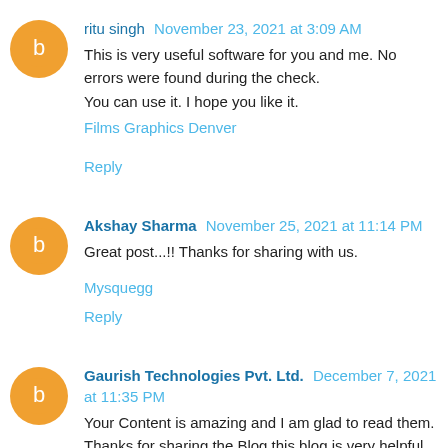ritu singh November 23, 2021 at 3:09 AM
This is very useful software for you and me. No errors were found during the check.
You can use it. I hope you like it.
Films Graphics Denver
Reply
Akshay Sharma November 25, 2021 at 11:14 PM
Great post...!! Thanks for sharing with us.
Mysquegg
Reply
Gaurish Technologies Pvt. Ltd. December 7, 2021 at 11:35 PM
Your Content is amazing and I am glad to read them. Thanks for sharing the Blog this blog is very helpful